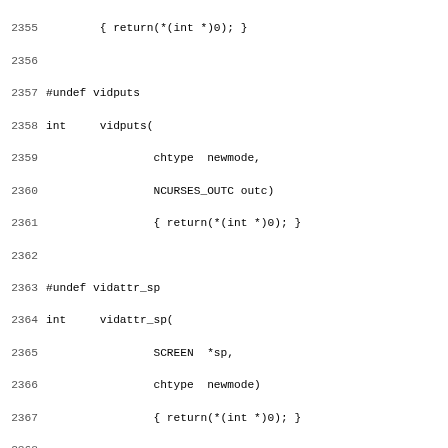Source code listing lines 2355-2387 showing C preprocessor undef and function stubs for vidputs, vidattr_sp, vidattr, termattrs_sp, termattrs, and wvline